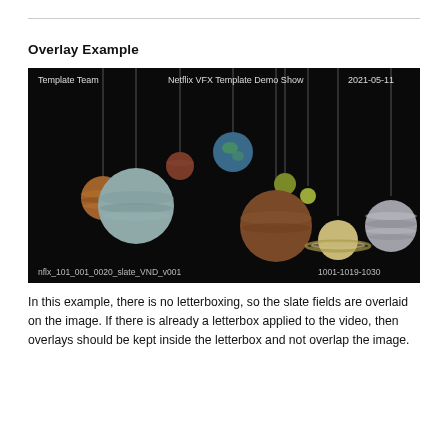Overlay Example
[Figure (screenshot): Screenshot of a VFX slate overlay on a dark background image showing planets hanging from strings. The slate shows: top-left 'Template Team', top-center 'Netflix VFX Template Demo Show', top-right '2021-05-11', bottom-left 'nflx_101_001_0020_slate_VND_v001', bottom-right '1001-1019-1030'.]
In this example, there is no letterboxing, so the slate fields are overlaid on the image. If there is already a letterbox applied to the video, then overlays should be kept inside the letterbox and not overlap the image.